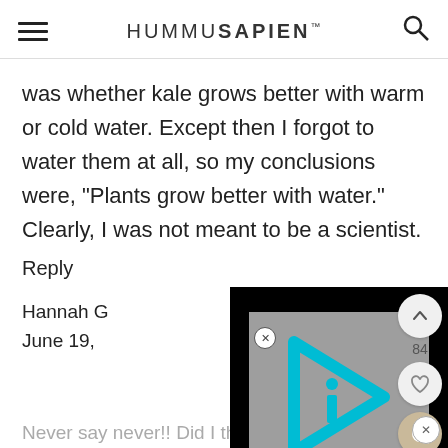HUMMUSAPIEN
was whether kale grows better with warm or cold water. Except then I forgot to water them at all, so my conclusions were, "Plants grow better with water." Clearly, I was not meant to be a scientist.
Reply
[Figure (screenshot): Video player overlay showing a play button icon (triangular arrow with letter i inside) in cyan on a gray background, surrounded by black borders. A close (x) button appears at the top left of the overlay.]
Hannah G
June 19,
Never say never!! Did I think I would